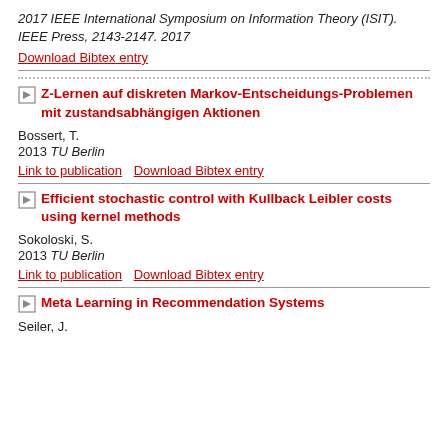2017 IEEE International Symposium on Information Theory (ISIT). IEEE Press, 2143-2147. 2017
Download Bibtex entry
Z-Lernen auf diskreten Markov-Entscheidungs-Problemen mit zustandsabhängigen Aktionen
Bossert, T.
2013 TU Berlin
Link to publication   Download Bibtex entry
Efficient stochastic control with Kullback Leibler costs using kernel methods
Sokoloski, S.
2013 TU Berlin
Link to publication   Download Bibtex entry
Meta Learning in Recommendation Systems
Seiler, J.